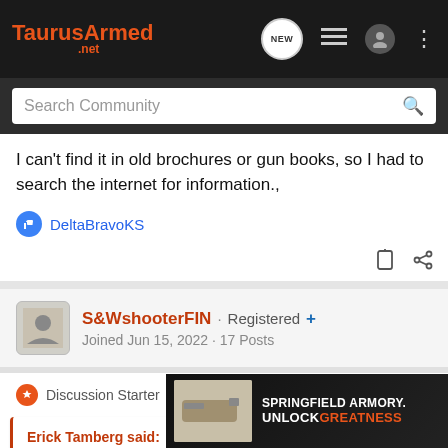TaurusArmed.net
I can't find it in old brochures or gun books, so I had to search the internet for information.,
DeltaBravoKS
S&WshooterFIN · Registered + Joined Jun 15, 2022 · 17 Posts
Discussion Starter · #16 · Jun 17, 2022
Erick Tamberg said: Not exactly sure if this is one of the earlier models or... other manufacturers did not have... all models...
[Figure (screenshot): Springfield Armory Unlock Greatness advertisement banner]